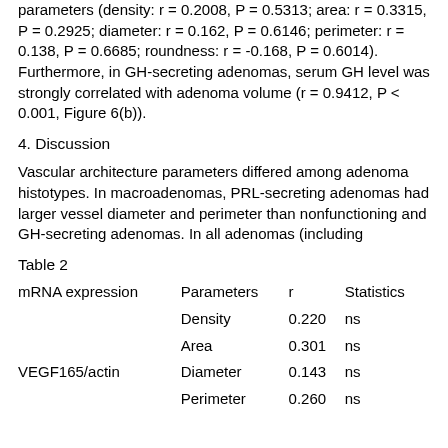parameters (density: r = 0.2008, P = 0.5313; area: r = 0.3315, P = 0.2925; diameter: r = 0.162, P = 0.6146; perimeter: r = 0.138, P = 0.6685; roundness: r = -0.168, P = 0.6014). Furthermore, in GH-secreting adenomas, serum GH level was strongly correlated with adenoma volume (r = 0.9412, P < 0.001, Figure 6(b)).
4. Discussion
Vascular architecture parameters differed among adenoma histotypes. In macroadenomas, PRL-secreting adenomas had larger vessel diameter and perimeter than nonfunctioning and GH-secreting adenomas. In all adenomas (including
Table 2
| mRNA expression | Parameters | r | Statistics |
| --- | --- | --- | --- |
|  | Density | 0.220 | ns |
|  | Area | 0.301 | ns |
| VEGF165/actin | Diameter | 0.143 | ns |
|  | Perimeter | 0.260 | ns |